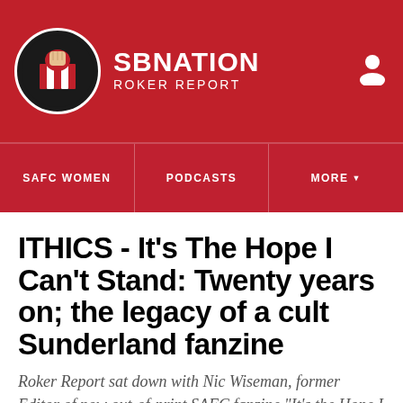SB NATION ROKER REPORT
ITHICS - It’s The Hope I Can’t Stand: Twenty years on; the legacy of a cult Sunderland fanzine
Roker Report sat down with Nic Wiseman, former Editor of now out-of-print SAFC fanzine “It’s the Hope I Can’t Stand”, to hear tell of what ignited their passions to write about the club